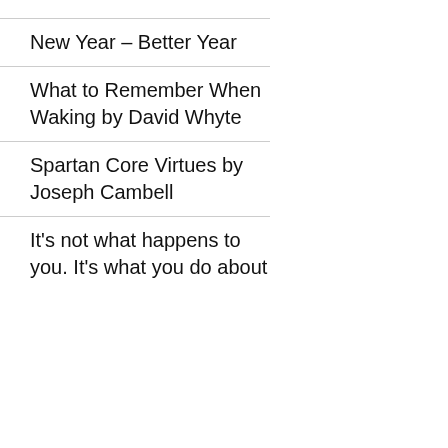New Year – Better Year
What to Remember When Waking by David Whyte
Spartan Core Virtues by Joseph Cambell
It's not what happens to you. It's what you do about